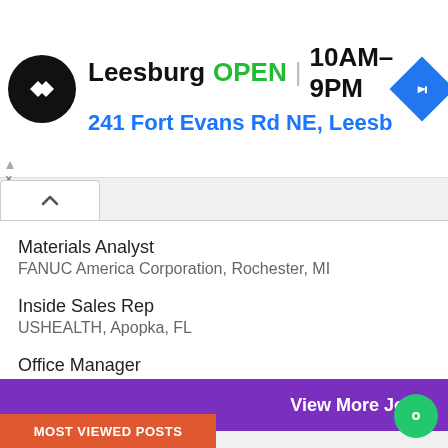[Figure (screenshot): Advertisement banner for a store location in Leesburg showing OPEN status with hours 10AM-9PM and address 241 Fort Evans Rd NE, Leesb. Contains a black circular logo with white arrows, and a blue navigation diamond icon.]
Materials Analyst
FANUC America Corporation, Rochester, MI
Inside Sales Rep
USHEALTH, Apopka, FL
Office Manager
B & B Concrete, Tupelo, MS
View More Jobs
MOST VIEWED POSTS